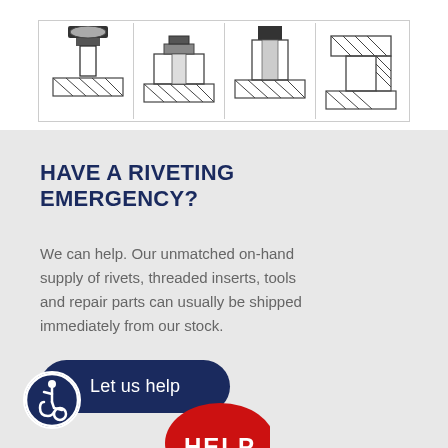[Figure (engineering-diagram): Row of four engineering cross-section diagrams of rivets or threaded inserts shown in a bordered table grid]
HAVE A RIVETING EMERGENCY?
We can help. Our unmatched on-hand supply of rivets, threaded inserts, tools and repair parts can usually be shipped immediately from our stock.
Let us help
[Figure (illustration): Accessibility wheelchair icon in a blue circle]
[Figure (illustration): Red oval HELP badge partially visible at bottom]